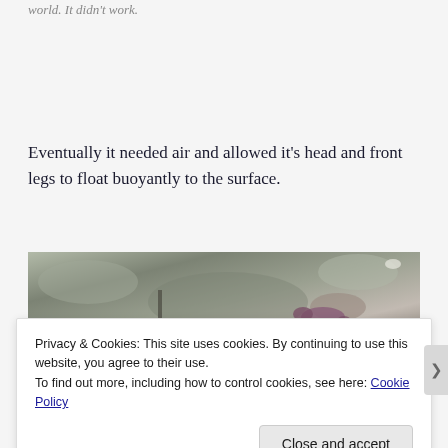world. It didn't work.
Eventually it needed air and allowed it's head and front legs to float buoyantly to the surface.
[Figure (photo): Outdoor photograph showing an animal (appears to be a reptile or amphibian) on a rocky/grassy surface, viewed from above]
Privacy & Cookies: This site uses cookies. By continuing to use this website, you agree to their use.
To find out more, including how to control cookies, see here: Cookie Policy
Close and accept